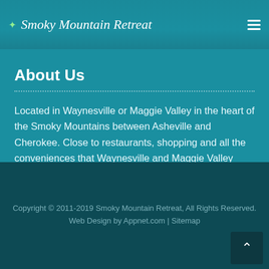Smoky Mountain Retreat
About Us
Located in Waynesville or Maggie Valley in the heart of the Smoky Mountains between Asheville and Cherokee. Close to restaurants, shopping and all the conveniences that Waynesville and Maggie Valley have to offer.
Copyright © 2011-2019 Smoky Mountain Retreat, All Rights Reserved.
Web Design by Appnet.com | Sitemap